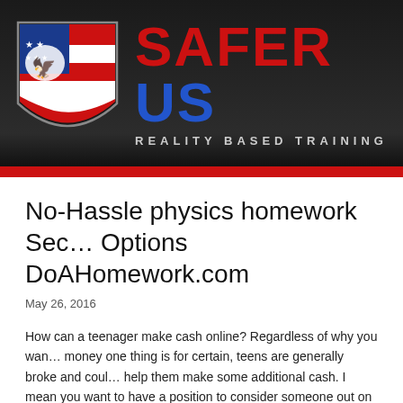[Figure (logo): Safer US Reality Based Training logo — shield with griffin and American flag design, with red 'SAFER' and blue 'US' text and grey tagline 'REALITY BASED TRAINING']
No-Hassle physics homework Secrets Options DoAHomework.com
May 26, 2016
How can a teenager make cash online? Regardless of why you want money one thing is for certain, teens are generally broke and could help them make some additional cash. I mean you want to have a position to consider someone out on a good date correct? Well ide… these methods to assist you make some extra money.